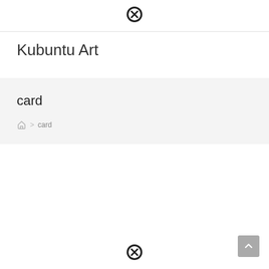[Figure (other): Close/cancel icon (circle with X) at top center of page]
Kubuntu Art
card
Home > card (breadcrumb navigation)
[Figure (other): Close/cancel icon (circle with X) at bottom center of page]
[Figure (other): Scroll-to-top button at bottom right]